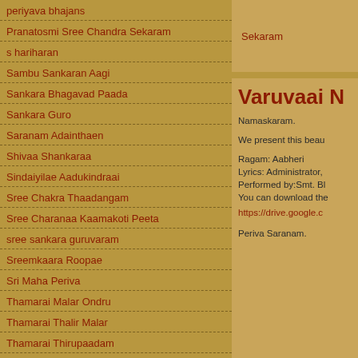periyava bhajans
Pranatosmi Sree Chandra Sekaram
s hariharan
Sambu Sankaran Aagi
Sankara Bhagavad Paada
Sankara Guro
Saranam Adainthaen
Shivaa Shankaraa
Sindaiyilae Aadukindraai
Sree Chakra Thaadangam
Sree Charanaa Kaamakoti Peeta
sree sankara guruvaram
Sreemkaara Roopae
Sri Maha Periva
Thamarai Malar Ondru
Thamarai Thalir Malar
Thamarai Thirupaadam
Thayin Madi Unnadiyae
Sekaram
Varuvaai N
Namaskaram.
We present this beau
Ragam: Aabheri
Lyrics: Administrator,
Performed by:Smt. Bl
You can download the
https://drive.google.c
Periva Saranam.